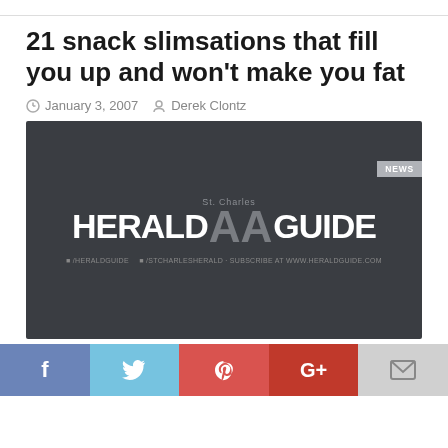21 snack slimsations that fill you up and won't make you fat
January 3, 2007 · Derek Clontz
[Figure (logo): St. Charles Herald Guide newspaper logo on dark grey background with NEWS badge in upper right corner and social media handles at bottom.]
[Figure (infographic): Social media share buttons row: Facebook (blue), Twitter (light blue), Pinterest (red), Google+ (red), Email (grey)]